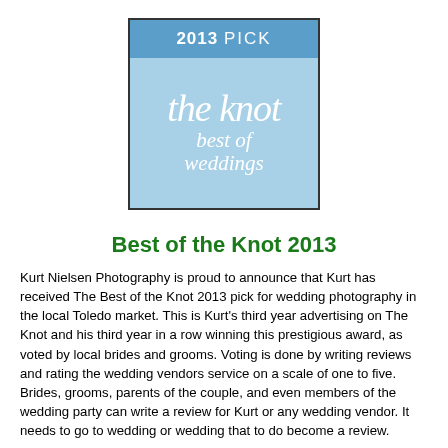[Figure (logo): The Knot Best of Weddings 2013 Pick badge. A square badge with a dark blue top band reading '2013 PICK' in white bold uppercase text, and a light blue lower section with cursive white text reading 'the knot best of weddings'.]
Best of the Knot 2013
Kurt Nielsen Photography is proud to announce that Kurt has received The Best of the Knot 2013 pick for wedding photography in the local Toledo market. This is Kurt's third year advertising on The Knot and his third year in a row winning this prestigious award, as voted by local brides and grooms. Voting is done by writing reviews and rating the wedding vendors service on a scale of one to five. Brides, grooms, parents of the couple, and even members of the wedding party can write a review for Kurt or any wedding vendor. It needs to go to wedding or wedding that to do become a review.